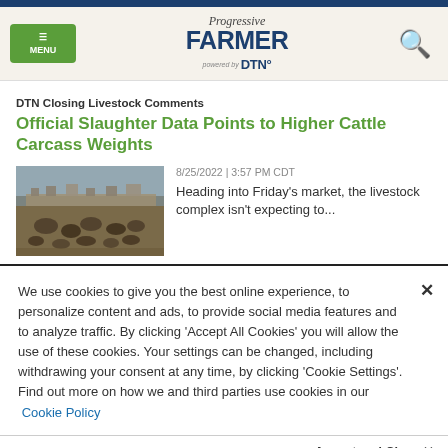Progressive Farmer powered by DTN — MENU | Search
DTN Closing Livestock Comments
Official Slaughter Data Points to Higher Cattle Carcass Weights
[Figure (photo): Aerial view of cattle feedlot]
8/25/2022 | 3:57 PM CDT
Heading into Friday's market, the livestock complex isn't expecting to...
We use cookies to give you the best online experience, to personalize content and ads, to provide social media features and to analyze traffic. By clicking 'Accept All Cookies' you will allow the use of these cookies. Your settings can be changed, including withdrawing your consent at any time, by clicking 'Cookie Settings'. Find out more on how we and third parties use cookies in our Cookie Policy
Accept and Close ×
Your browser settings do not allow cross-site tracking for advertising. Click on this page to allow AdRoll to use cross-site tracking to tailor ads to you. Learn more or opt out of this AdRoll tracking by clicking here. This message only appears once.